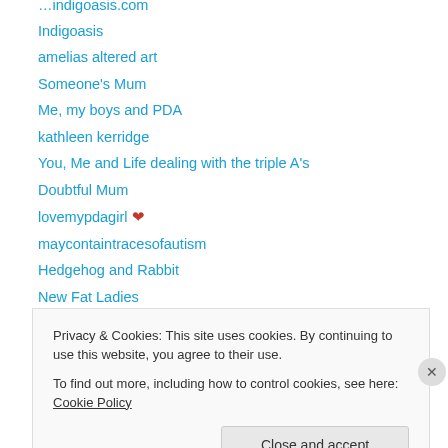Indigoasis
amelias altered art
Someone's Mum
Me, my boys and PDA
kathleen kerridge
You, Me and Life dealing with the triple A's
Doubtful Mum
lovemypdagirl ❤
maycontaintracesofautism
Hedgehog and Rabbit
New Fat Ladies
Living with Autism
WordPress.com News
Privacy & Cookies: This site uses cookies. By continuing to use this website, you agree to their use. To find out more, including how to control cookies, see here: Cookie Policy
Close and accept